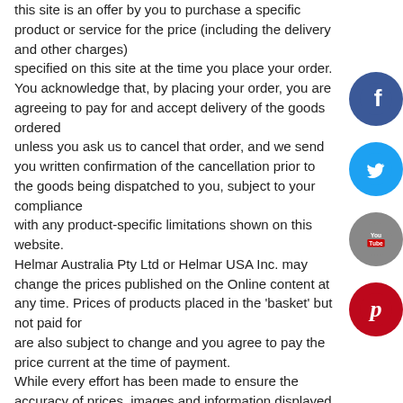this site is an offer by you to purchase a specific product or service for the price (including the delivery and other charges) specified on this site at the time you place your order. You acknowledge that, by placing your order, you are agreeing to pay for and accept delivery of the goods ordered unless you ask us to cancel that order, and we send you written confirmation of the cancellation prior to the goods being dispatched to you, subject to your compliance with any product-specific limitations shown on this website. Helmar Australia Pty Ltd or Helmar USA Inc. may change the prices published on the Online content at any time. Prices of products placed in the 'basket' but not paid for are also subject to change and you agree to pay the price current at the time of payment. While every effort has been made to ensure the accuracy of prices, images and information displayed on this site, Helmar Australia Pty Ltd and Helmar USA Inc. is not responsible
[Figure (illustration): Social media icons on the right side: Facebook (blue circle with f), Twitter (light blue circle with bird), YouTube (grey circle with You/Tube logo), Pinterest (red circle with P)]